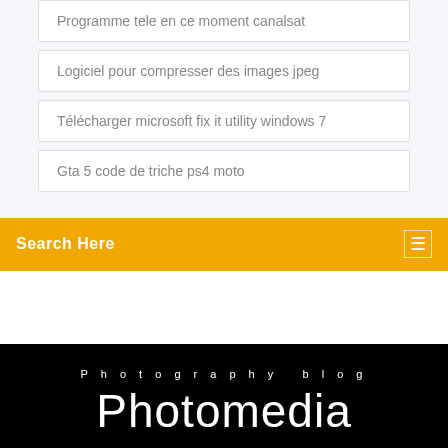Programme tele en ce moment canalsat
Logiciel pour compresser des images jpeg
Télécharger microsoft fix it utility windows 7
Gta 5 code de triche ps4 moto
Search Here
Photography blog
Photomedia